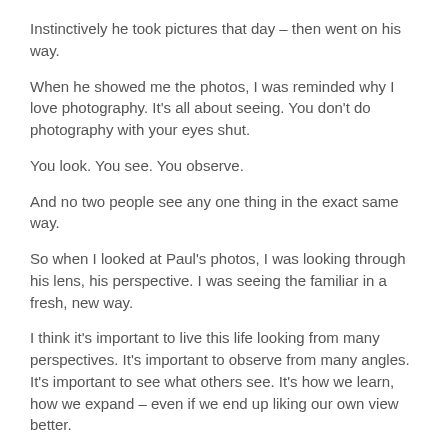Instinctively he took pictures that day – then went on his way.
When he showed me the photos, I was reminded why I love photography. It's all about seeing. You don't do photography with your eyes shut.
You look. You see. You observe.
And no two people see any one thing in the exact same way.
So when I looked at Paul's photos, I was looking through his lens, his perspective. I was seeing the familiar in a fresh, new way.
I think it's important to live this life looking from many perspectives. It's important to observe from many angles. It's important to see what others see. It's how we learn, how we expand – even if we end up liking our own view better.